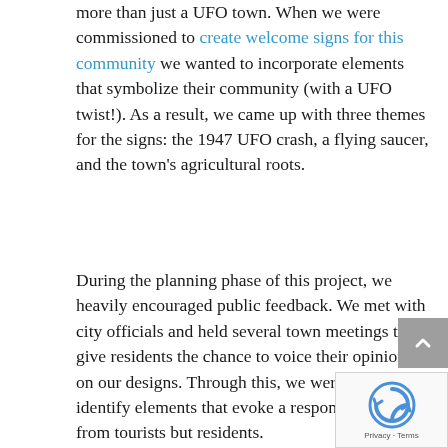more than just a UFO town. When we were commissioned to create welcome signs for this community we wanted to incorporate elements that symbolize their community (with a UFO twist!). As a result, we came up with three themes for the signs: the 1947 UFO crash, a flying saucer, and the town's agricultural roots.
During the planning phase of this project, we heavily encouraged public feedback. We met with city officials and held several town meetings to give residents the chance to voice their opinions on our designs. Through this, we were able to identify elements that evoke a response, not only from tourists but residents.